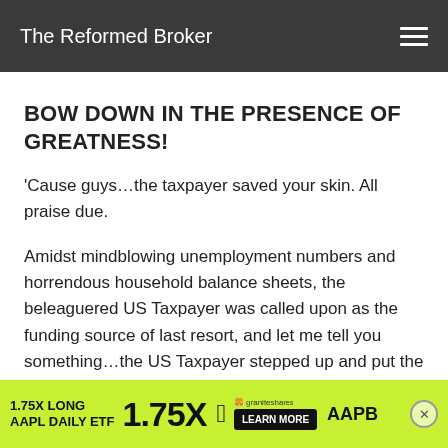The Reformed Broker
BOW DOWN IN THE PRESENCE OF GREATNESS!
‘Cause guys…the taxpayer saved your skin.  All praise due.
Amidst mindblowing unemployment numbers and horrendous household balance sheets, the beleaguered US Taxpayer was called upon as the funding source of last resort, and let me tell you something…the US Taxpayer stepped up and put the bottom [faded] not have.
[Figure (screenshot): Advertisement banner: 1.75X LONG AAPL DAILY ETF 1.75X with Apple logo, GraniteShares branding, AAPB ticker, LEARN MORE button, and close X button on yellow-green background]